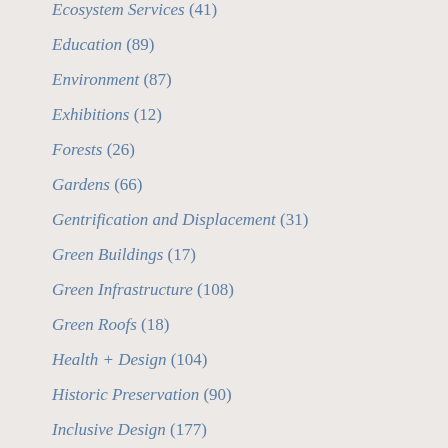Ecosystem Services (41)
Education (89)
Environment (87)
Exhibitions (12)
Forests (26)
Gardens (66)
Gentrification and Displacement (31)
Green Buildings (17)
Green Infrastructure (108)
Green Roofs (18)
Health + Design (104)
Historic Preservation (90)
Inclusive Design (177)
Landscape Architecture (666)
Memorials (30)
National Mall (4)
Opportunities (55)
Policy and Regulation (111)